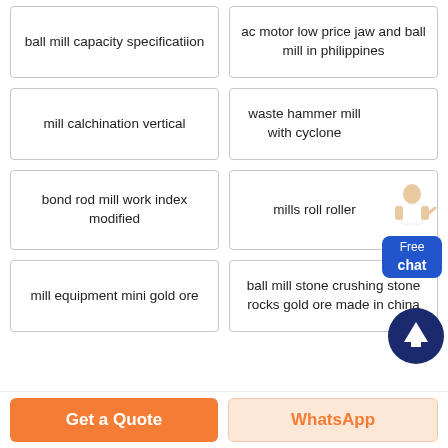ball mill capacity specificatiion
ac motor low price jaw and ball mill in philippines
mill calchination vertical
waste hammer mill with cyclone
bond rod mill work index modified
mills roll roller
mill equipment mini gold ore
ball mill stone crushing stone rocks gold ore made in china
[Figure (illustration): Customer service representative figure with Free chat button widget]
[Figure (illustration): Scroll to top button - dark blue circle with upward arrow]
Get a Quote
WhatsApp